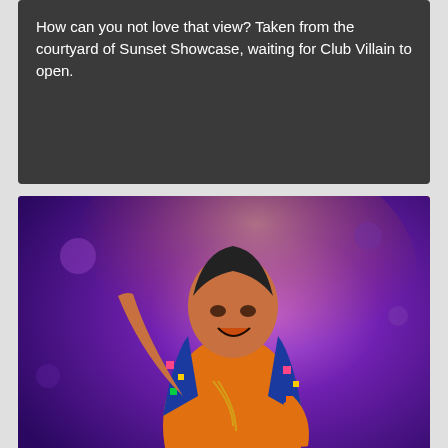How can you not love that view? Taken from the courtyard of Sunset Showcase, waiting for Club Villain to open.
[Figure (photo): Photo of Club Manager Kanzo, a performer in an orange shirt and colorful patterned jacket, gesturing with one arm raised, standing in front of a colorful purple and blue lit background.]
Club Manager Kanzo opens Club Villain for the first time ever!
[Figure (photo): Partially visible photo of Club Villain interior showing a dramatic red and pink lit stage setup with decorative elements, curtains, and elaborate ornate decor.]